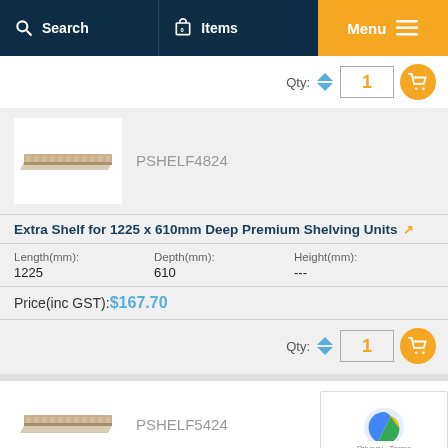Search | 0 Items | Menu
Qty: 1
[Figure (photo): Product image of shelf unit PSHELF4824]
PSHELF4824
Extra Shelf for 1225 x 610mm Deep Premium Shelving Units
Length(mm): 1225 | Depth(mm): 610 | Height(mm): ---
Price(inc GST): $167.70
Qty: 1
[Figure (photo): Product image of shelf unit PSHELF5424]
PSHELF5424